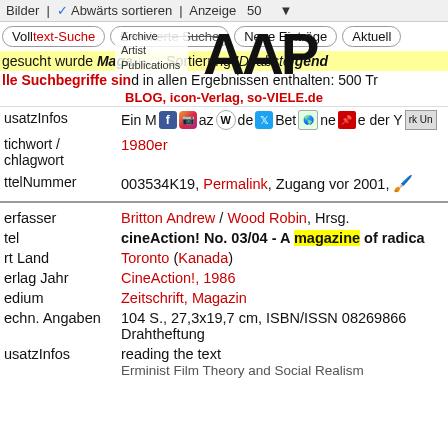Bilder | Abwärts sortieren | Anzeige 50
[Figure (logo): AAP Archive Artist Publications logo with large AAP text and small subtitle lines]
BLOG, icon-Verlag, so-VIELE.de
Volltext-Suche | Erweiterte Suche | Neue Einträge | Aktuell
gesucht wurde Magazin ..., Sortierung ID, absteigend
Alle Suchbegriffe sind in allen Ergebnissen enthalten: 500 Tr
Drantheftung, eingelöste Anstufthreiben
| usatzInfos | Ein Magazin de...Bet...Vollе der York Un |
| tichwort / chlagwort | 1980er |
| titelNummer | 003534K19, Permalink, Zugang vor 2001, |
| erfasser | Britton Andrew / Wood Robin, Hrsg. |
| tel | cineAction! No. 03/04 - A magazine of radica... |
| rt Land | Toronto (Kanada) |
| erlag Jahr | CineAction!, 1986 |
| edium | Zeitschrift, Magazin |
| echn. Angaben | 104 S., 27,3x19,7 cm, ISBN/ISSN 08269866
Drahtheftung |
| usatzInfos | reading the text
Erminist Film Theory and Social Realism |